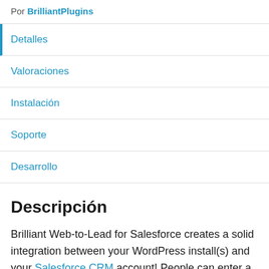Por BrilliantPlugins
Detalles
Valoraciones
Instalación
Soporte
Desarrollo
Descripción
Brilliant Web-to-Lead for Salesforce creates a solid integration between your WordPress install(s) and your Salesforce CRM account! People can enter a contact form on your site, and the lead (or case) goes straight into Salesforce CRM: no more copy